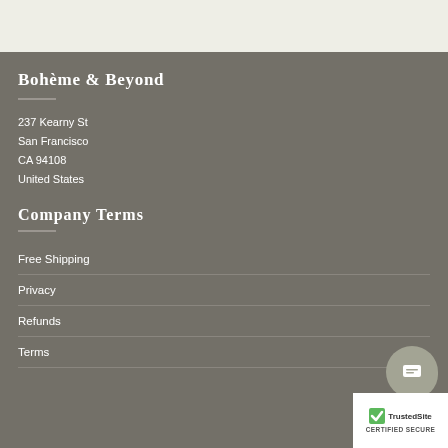Bohème & Beyond
237 Kearny St
San Francisco
CA 94108
United States
Company Terms
Free Shipping
Privacy
Refunds
Terms